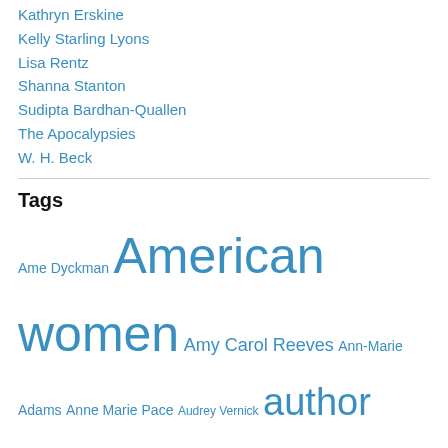Kathryn Erskine
Kelly Starling Lyons
Lisa Rentz
Shanna Stanton
Sudipta Bardhan-Quallen
The Apocalypsies
W. H. Beck
Tags
Ame Dyckman American women Amy Carol Reeves Ann-Marie Adams Anne Marie Pace Audrey Vernick author Barbara Johansen Newman books brainy women quotes busy librarian children children's author children's editor college contest disney Dog Gone Donna Farrell Duck